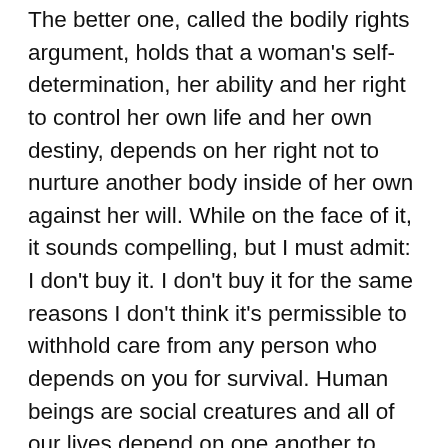The better one, called the bodily rights argument, holds that a woman's self-determination, her ability and her right to control her own life and her own destiny, depends on her right not to nurture another body inside of her own against her will. While on the face of it, it sounds compelling, but I must admit: I don't buy it. I don't buy it for the same reasons I don't think it's permissible to withhold care from any person who depends on you for survival. Human beings are social creatures and all of our lives depend on one another to some degree, especially the lives of children, the disabled, and the very elderly, who are entirely dependent on others. All humans use their own body, in one way or another, to nurture  other lives: it's a central feature of the human condition. I think it's a case of special pleading (a logical fallacy) to think we can 'force' parents to feed and shelter their offspring using their body only when their offspring are outside the body